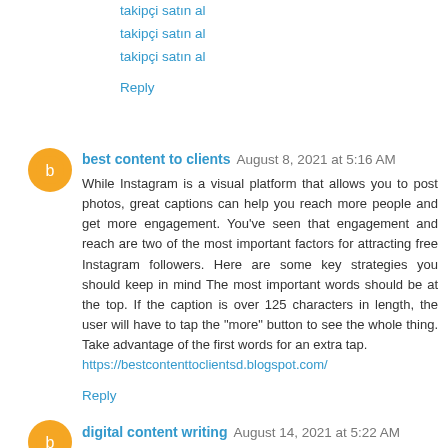takipçi satın al
takipçi satın al
takipçi satın al
Reply
best content to clients  August 8, 2021 at 5:16 AM
While Instagram is a visual platform that allows you to post photos, great captions can help you reach more people and get more engagement. You've seen that engagement and reach are two of the most important factors for attracting free Instagram followers. Here are some key strategies you should keep in mind The most important words should be at the top. If the caption is over 125 characters in length, the user will have to tap the "more" button to see the whole thing. Take advantage of the first words for an extra tap. https://bestcontenttoclientsd.blogspot.com/
Reply
digital content writing  August 14, 2021 at 5:22 AM